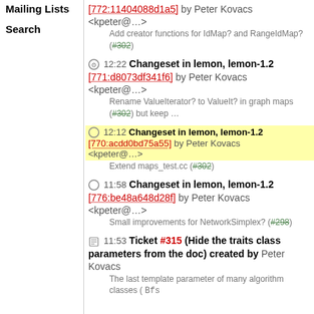Mailing Lists
Search
12:22 Changeset in lemon, lemon-1.2 [772:11404088d1a5] by Peter Kovacs <kpeter@…>
Add creator functions for IdMap? and RangeIdMap? (#302)
12:22 Changeset in lemon, lemon-1.2 [771:d8073df341f6] by Peter Kovacs <kpeter@…>
Rename ValueIterator? to ValueIt? in graph maps (#302) but keep …
12:12 Changeset in lemon, lemon-1.2 [770:acdd0bd75a55] by Peter Kovacs <kpeter@…>
Extend maps_test.cc (#302)
11:58 Changeset in lemon, lemon-1.2 [776:be48a648d28f] by Peter Kovacs <kpeter@…>
Small improvements for NetworkSimplex? (#298)
11:53 Ticket #315 (Hide the traits class parameters from the doc) created by Peter Kovacs
The last template parameter of many algorithm classes ( Bfs